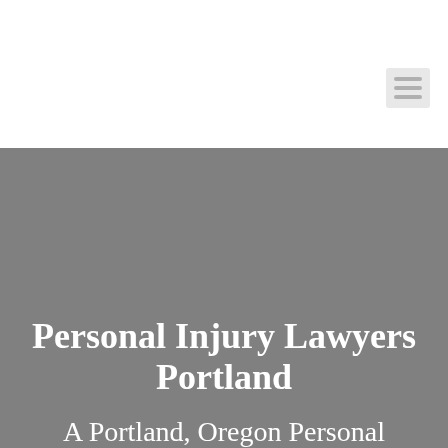[Figure (screenshot): White header area with a hamburger menu icon (three horizontal bars) in the upper right corner on a light grey background square.]
Personal Injury Lawyers Portland
A Portland, Oregon Personal Injury Law Fi...